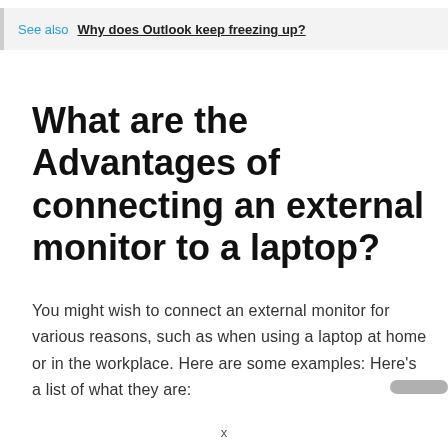See also  Why does Outlook keep freezing up?
What are the Advantages of connecting an external monitor to a laptop?
You might wish to connect an external monitor for various reasons, such as when using a laptop at home or in the workplace. Here are some examples: Here’s a list of what they are: